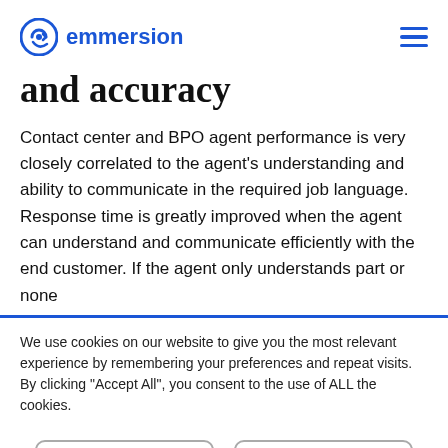emmersion
and accuracy
Contact center and BPO agent performance is very closely correlated to the agent's understanding and ability to communicate in the required job language. Response time is greatly improved when the agent can understand and communicate efficiently with the end customer. If the agent only understands part or none
We use cookies on our website to give you the most relevant experience by remembering your preferences and repeat visits. By clicking “Accept All”, you consent to the use of ALL the cookies.
Accept All
Only Necessary